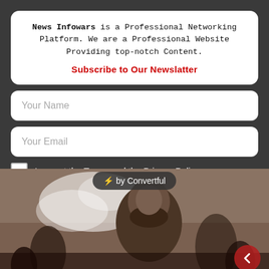News Infowars is a Professional Networking Platform. We are a Professional Website Providing top-notch Content.
Subscribe to Our Newslatter
Your Name
Your Email
I accept the Terms and the Privacy Policy.
Subscribe
⚡ by Convertful
[Figure (photo): Bearded man smoking with smoke cloud in foreground, crowd in background, dark atmospheric scene]